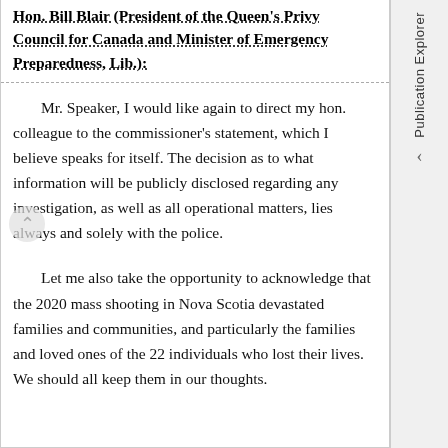Hon. Bill Blair (President of the Queen's Privy Council for Canada and Minister of Emergency Preparedness, Lib.):
Mr. Speaker, I would like again to direct my hon. colleague to the commissioner's statement, which I believe speaks for itself. The decision as to what information will be publicly disclosed regarding any investigation, as well as all operational matters, lies always and solely with the police.
Let me also take the opportunity to acknowledge that the 2020 mass shooting in Nova Scotia devastated families and communities, and particularly the families and loved ones of the 22 individuals who lost their lives. We should all keep them in our thoughts.